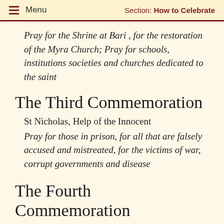Menu  Section: How to Celebrate
Pray for the Shrine at Bari , for the restoration of the Myra Church; Pray for schools, institutions societies and churches dedicated to the saint
The Third Commemoration
St Nicholas, Help of the Innocent
Pray for those in prison, for all that are falsely accused and mistreated, for the victims of war, corrupt governments and disease
The Fourth Commemoration